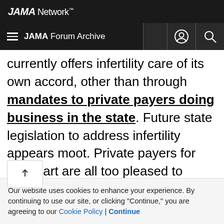JAMA Network
JAMA Forum Archive
currently offers infertility care of its own accord, other than through mandates to private payers doing business in the state. Future state legislation to address infertility appears moot. Private payers for their part are all too pleased to oblige employers who choose to incorporate infertility care to their benefit basket. Most employers, however, have yet to do so.

This unfortunate state of affairs adds up to a socially
Our website uses cookies to enhance your experience. By continuing to use our site, or clicking "Continue," you are agreeing to our Cookie Policy | Continue